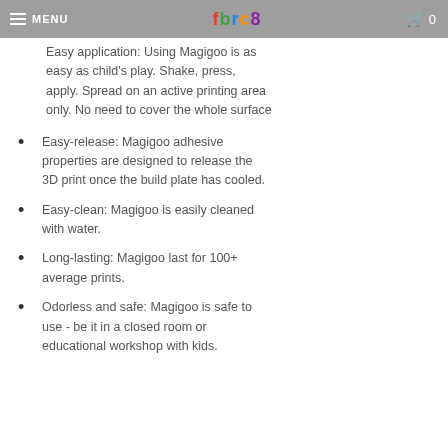MENU | fbrc8 | 0
Easy application: Using Magigoo is as easy as child's play. Shake, press, apply. Spread on an active printing area only. No need to cover the whole surface
Easy-release: Magigoo adhesive properties are designed to release the 3D print once the build plate has cooled.
Easy-clean: Magigoo is easily cleaned with water.
Long-lasting: Magigoo last for 100+ average prints.
Odorless and safe: Magigoo is safe to use - be it in a closed room or educational workshop with kids.